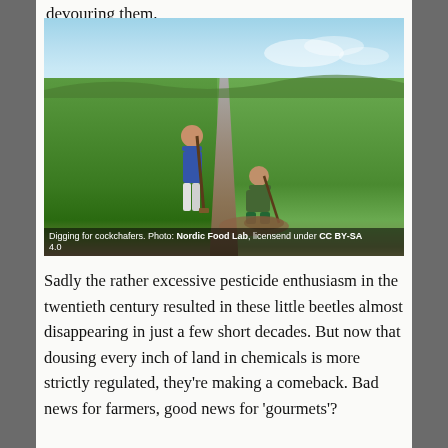devouring them.
[Figure (photo): Two people digging in a green agricultural field along a dirt path, searching for cockchafers. Photo credit: Nordic Food Lab, licensed under CC BY-SA 4.0]
Digging for cockchafers. Photo: Nordic Food Lab, licensend under CC BY-SA 4.0
Sadly the rather excessive pesticide enthusiasm in the twentieth century resulted in these little beetles almost disappearing in just a few short decades. But now that dousing every inch of land in chemicals is more strictly regulated, they're making a comeback. Bad news for farmers, good news for 'gourmets'?